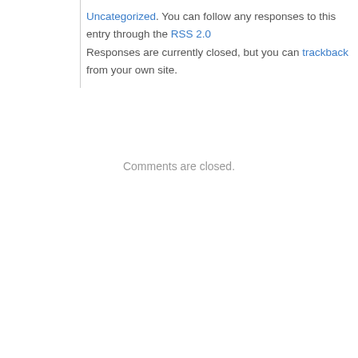Uncategorized. You can follow any responses to this entry through the RSS 2.0 Responses are currently closed, but you can trackback from your own site.
Comments are closed.